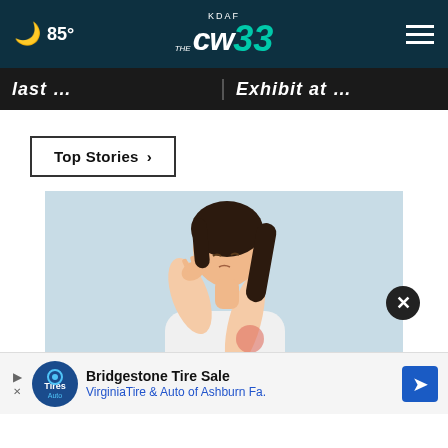KDAF CW33 — 85°
last … | Exhibit at …
Top Stories ›
[Figure (photo): Woman in white sweater scratching her arm, looking down in discomfort, light blue background]
Do You Know What Plaque Psoriasis Is? (Take a Look)
Bridgestone Tire Sale — VirginiaTire & Auto of Ashburn Fa.